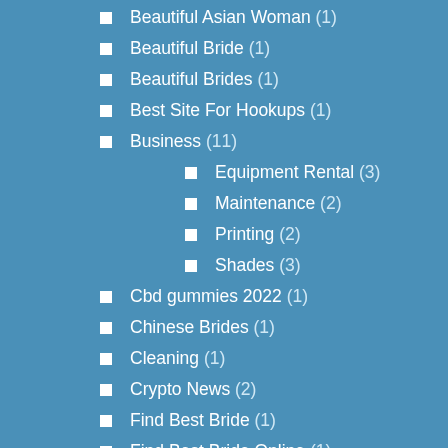Beautiful Asian Woman (1)
Beautiful Bride (1)
Beautiful Brides (1)
Best Site For Hookups (1)
Business (11)
Equipment Rental (3)
Maintenance (2)
Printing (2)
Shades (3)
Cbd gummies 2022 (1)
Chinese Brides (1)
Cleaning (1)
Crypto News (2)
Find Best Bride (1)
Find Best Bride Online (1)